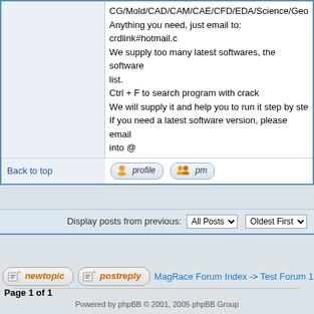CG/Mold/CAD/CAM/CAE/CFD/EDA/Science/Geo... Anything you need, just email to: crdlink#hotmail.c... We supply too many latest softwares, the software... list. Ctrl + F to search program with crack We will supply it and help you to run it step by step... If you need a latest software version, please email... into @
Back to top
Display posts from previous: All Posts Oldest First
newtopic  postreply  MagRace Forum Index -> Test Forum 1
Page 1 of 1
Powered by phpBB © 2001, 2005 phpBB Group